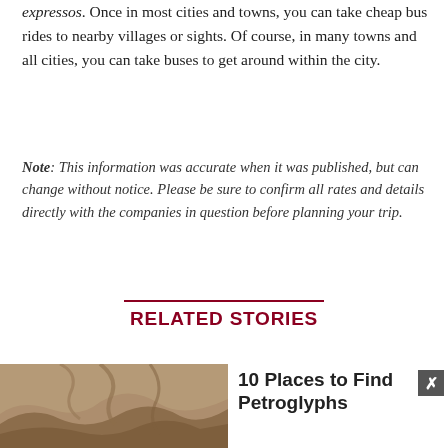expressos. Once in most cities and towns, you can take cheap bus rides to nearby villages or sights. Of course, in many towns and all cities, you can take buses to get around within the city.
Note: This information was accurate when it was published, but can change without notice. Please be sure to confirm all rates and details directly with the companies in question before planning your trip.
RELATED STORIES
[Figure (photo): Photograph of rocky terrain or petroglyphs landscape]
10 Places to Find Petroglyphs